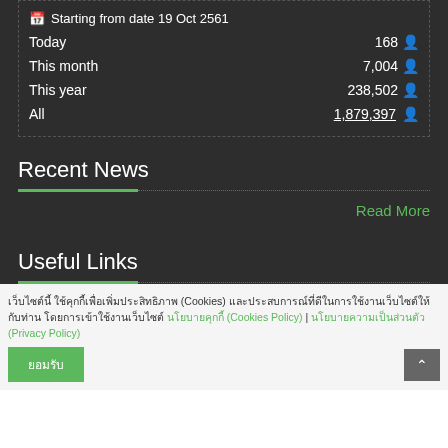| Label | Value |
| --- | --- |
| Starting from date 19 Oct 2561 |  |
| Today | 168 |
| This month | 7,004 |
| This year | 238,502 |
| All | 1,879,397 |
Recent News
Read More
Useful Links
เว็บไซต์นี้ ใช้คุกกี้เพื่อเพิ่มประสิทธิภาพ (Cookies) และประสบการณ์ที่ดีในการใช้งานเว็บไซต์ให้กับท่าน โดยการเข้าใช้งานเว็บไซต์ นโยบายคุกกี้ (Cookies Policy) | นโยบายความเป็นส่วนตัว (Privacy Policy)
ยอมรับ